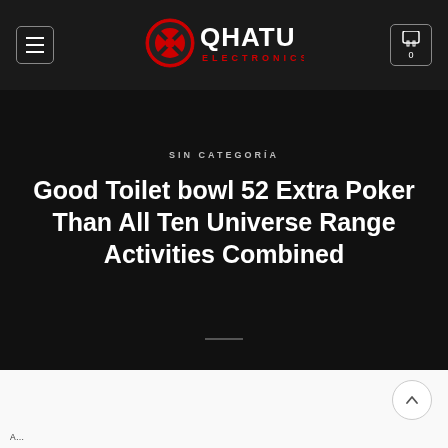QHATU ELECTRONICS — navigation header with menu button, logo, and cart
SIN CATEGORÍA
Good Toilet bowl 52 Extra Poker Than All Ten Universe Range Activities Combined
A…